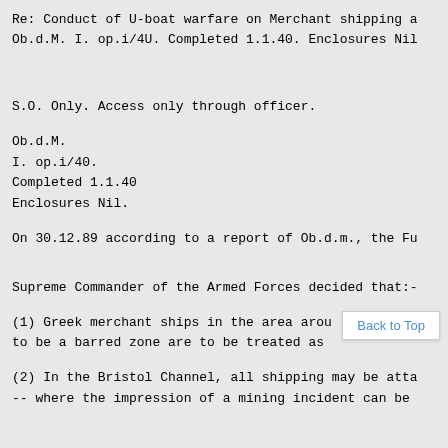Re: Conduct of U-boat warfare on Merchant shipping a
Ob.d.M. I. op.i/4U. Completed 1.1.40. Enclosures Nil
S.O. Only. Access only through officer.
Ob.d.M.
I. op.i/40.
Completed 1.1.40
Enclosures Nil.
On 30.12.89 according to a report of Ob.d.m., the Fu
Supreme Commander of the Armed Forces decided that:-
(1) Greek merchant ships in the area arou [Back to Top] to be a barred zone are to be treated as
(2) In the Bristol Channel, all shipping may be atta
-- where the impression of a mining incident can be